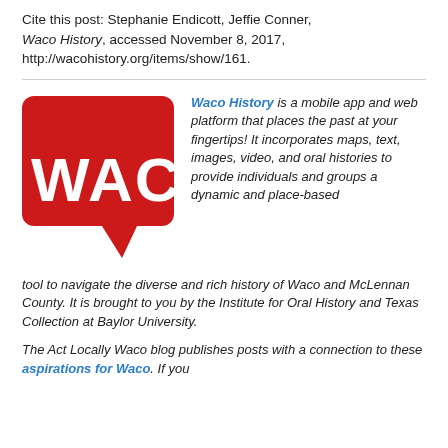Cite this post: Stephanie Endicott, Jeffie Conner, Waco History, accessed November 8, 2017, http://wacohistory.org/items/show/161.
[Figure (logo): Waco History app logo — red speech bubble with white text 'WACO' inside]
Waco History is a mobile app and web platform that places the past at your fingertips! It incorporates maps, text, images, video, and oral histories to provide individuals and groups a dynamic and place-based tool to navigate the diverse and rich history of Waco and McLennan County. It is brought to you by the Institute for Oral History and Texas Collection at Baylor University.
The Act Locally Waco blog publishes posts with a connection to these aspirations for Waco. If you